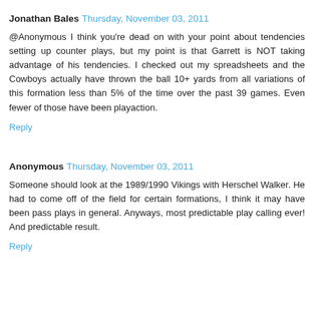Jonathan Bales  Thursday, November 03, 2011
@Anonymous I think you're dead on with your point about tendencies setting up counter plays, but my point is that Garrett is NOT taking advantage of his tendencies. I checked out my spreadsheets and the Cowboys actually have thrown the ball 10+ yards from all variations of this formation less than 5% of the time over the past 39 games. Even fewer of those have been playaction.
Reply
Anonymous  Thursday, November 03, 2011
Someone should look at the 1989/1990 Vikings with Herschel Walker. He had to come off of the field for certain formations, I think it may have been pass plays in general. Anyways, most predictable play calling ever! And predictable result.
Reply